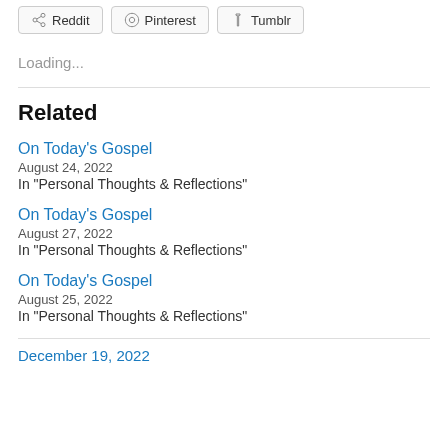[Figure (other): Social share buttons: Reddit, Pinterest, Tumblr]
Loading...
Related
On Today's Gospel
August 24, 2022
In "Personal Thoughts & Reflections"
On Today's Gospel
August 27, 2022
In "Personal Thoughts & Reflections"
On Today's Gospel
August 25, 2022
In "Personal Thoughts & Reflections"